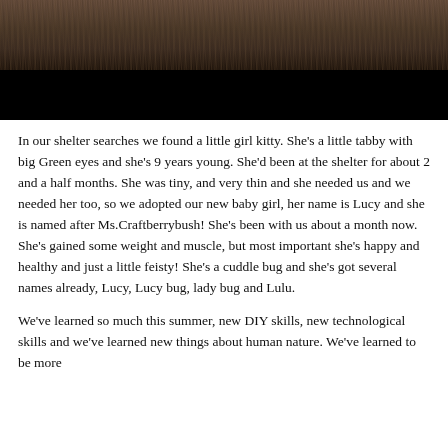[Figure (photo): Top portion shows animal fur (tabby cat) with dark brown and grey tones, below which is a large black rectangle obscuring the rest of the image.]
In our shelter searches we found a little girl kitty.  She's a little tabby with big Green eyes and she's 9 years young. She'd been at the shelter for about 2 and a half months. She was tiny, and very thin and she needed us and we needed her too, so we adopted our new baby girl, her name is Lucy and she is named after Ms.Craftberrybush!  She's been with us about a month now. She's gained some weight and muscle, but most important she's happy and healthy and just a little feisty!  She's a cuddle bug and she's got several names already, Lucy, Lucy bug, lady bug and Lulu.
We've learned so much this summer, new DIY skills, new technological skills and we've learned new things about human nature.  We've learned to be more